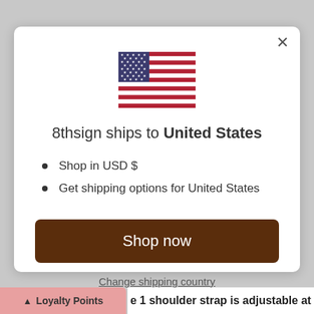[Figure (illustration): US flag SVG illustration]
8thsign ships to United States
Shop in USD $
Get shipping options for United States
Shop now
Change shipping country
Loyalty Points
e 1 shoulder strap is adjustable at the